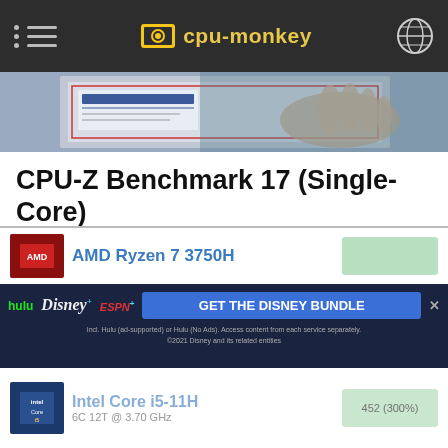cpu-monkey
[Figure (photo): Partial hero image showing a hand near a document/chart, cropped at top]
CPU-Z Benchmark 17 (Single-Core)
The CPU-Z benchmark measures a processor's performance by measuring the time it takes the system to complete all benchmark calculations. The faster the benchmark is completed, the higher the score.
AMD Ryzen 7 3750H
[Figure (infographic): Hulu Disney+ ESPN+ GET THE DISNEY BUNDLE advertisement banner. Incl. Hulu (ad-supported) or Hulu (No Ads). Access content from each service separately. ©2021 Disney and its related entities]
Intel Core i5-11H
6C 12T @ 3.70 GHz
452 (300%)